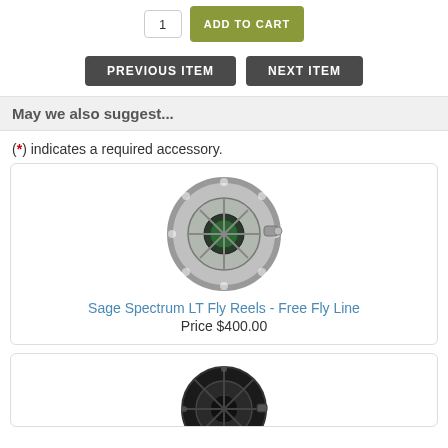[Figure (screenshot): Quantity input box showing '1' and an olive/gold 'ADD TO CART' button]
[Figure (screenshot): Two navigation buttons: 'PREVIOUS ITEM' (dark gray) and 'NEXT ITEM' (dark gray)]
May we also suggest...
(*) indicates a required accessory.
[Figure (photo): Sage Spectrum LT Fly Reel - silver/green metallic fishing reel]
Sage Spectrum LT Fly Reels - Free Fly Line
Price $400.00
[Figure (photo): Dark/black fly fishing reel, partially visible at bottom of page]